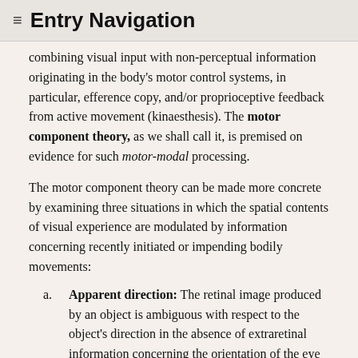≡ Entry Navigation
combining visual input with non-perceptual information originating in the body's motor control systems, in particular, efference copy, and/or proprioceptive feedback from active movement (kinaesthesis). The motor component theory, as we shall call it, is premised on evidence for such motor-modal processing.
The motor component theory can be made more concrete by examining three situations in which the spatial contents of visual experience are modulated by information concerning recently initiated or impending bodily movements:
Apparent direction: The retinal image produced by an object is ambiguous with respect to the object's direction in the absence of extraretinal information concerning the orientation of the eye relative to the head. While there is evidence that proprioceptive inflow from muscle spindles in the extraocular muscles is used to encode eye position, as Sherrington 1918 proposed, outflowing efference copy is generally regarded as the more heavily